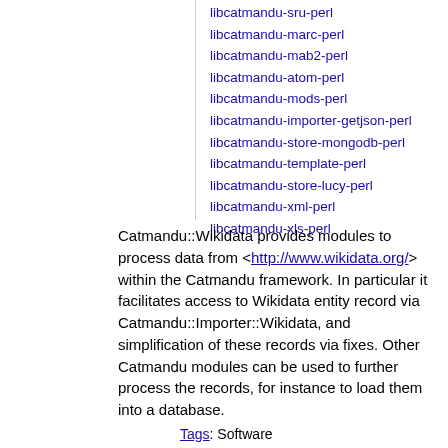libcatmandu-sru-perl
libcatmandu-marc-perl
libcatmandu-mab2-perl
libcatmandu-atom-perl
libcatmandu-mods-perl
libcatmandu-importer-getjson-perl
libcatmandu-store-mongodb-perl
libcatmandu-template-perl
libcatmandu-store-lucy-perl
libcatmandu-xml-perl
libcatmandu-xls-perl
Catmandu::Wikidata provides modules to process data from <http://www.wikidata.org/> within the Catmandu framework. In particular it facilitates access to Wikidata entity record via Catmandu::Importer::Wikidata, and simplification of these records via fixes. Other Catmandu modules can be used to further process the records, for instance to load them into a database.
Tags: Software